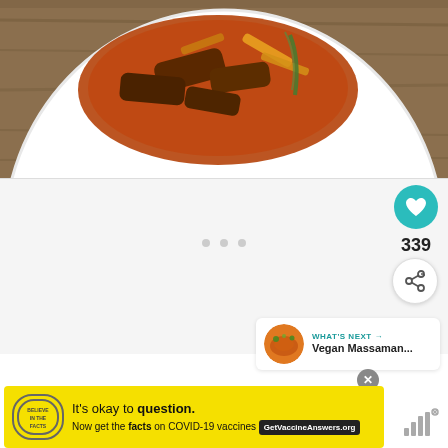[Figure (photo): Top-down view of a white plate containing braised or stewed meat with sauce and vegetables, on a wooden table background. Only the top portion of the plate is visible.]
[Figure (screenshot): App UI panel with carousel dots, heart/like button in teal (339 likes), share button, and a 'WHAT'S NEXT' card showing Vegan Massaman... recipe thumbnail]
[Figure (screenshot): Yellow advertisement banner: It's okay to question. Now get the facts on COVID-19 vaccines. GetVaccineAnswers.org]